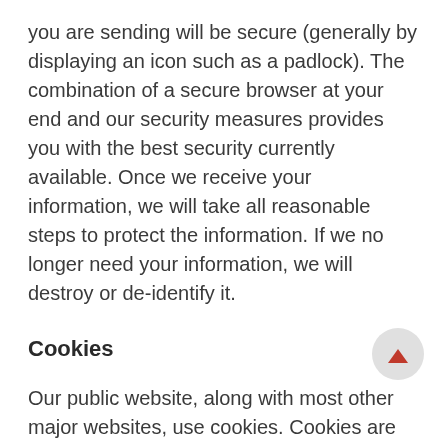you are sending will be secure (generally by displaying an icon such as a padlock). The combination of a secure browser at your end and our security measures provides you with the best security currently available. Once we receive your information, we will take all reasonable steps to protect the information. If we no longer need your information, we will destroy or de-identify it.
Cookies
Our public website, along with most other major websites, use cookies. Cookies are pieces of information that a website transfers to the cookie file on your computer's hard disk. Cookies enable us to navigate around the website and (where appropriate) enable us to tailor the content to fit the needs of